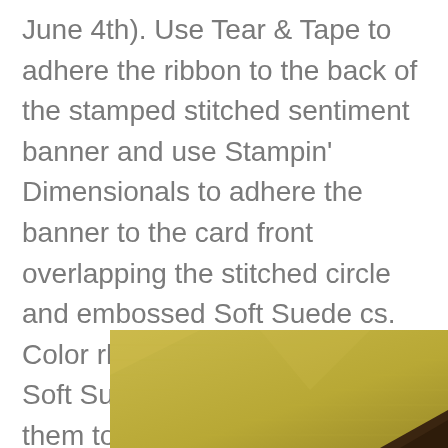June 4th). Use Tear & Tape to adhere the ribbon to the back of the stamped stitched sentiment banner and use Stampin' Dimensionals to adhere the banner to the card front overlapping the stitched circle and embossed Soft Suede cs. Color rhinestones with the Dark Soft Suede Blend and attach them to the sentiment banner for sparkle.
[Figure (photo): Close-up photo of a textured yellow-green (olive/gold) cardstock or paper surface, with a dark brown corner visible in the lower right.]